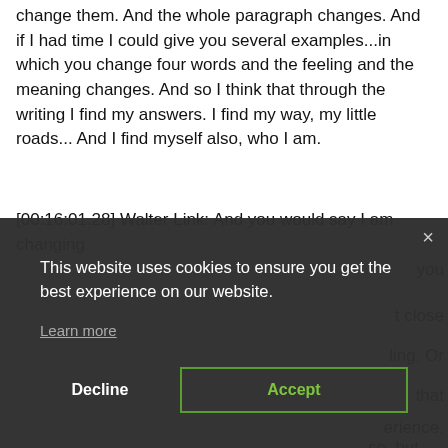change them. And the whole paragraph changes. And if I had time I could give you several examples...in which you change four words and the feeling and the meaning changes. And so I think that through the writing I find my answers. I find my way, my little roads... And I find myself also, who I am.
[00:16:01.28] Walter Link: And you would say I am changing
[Figure (screenshot): Cookie consent modal overlay with dark background. Contains text 'This website uses cookies to ensure you get the best experience on our website.' with a 'Learn more' link, a 'Decline' button, and an 'Accept' button with green border. An X close button is in the top right corner.]